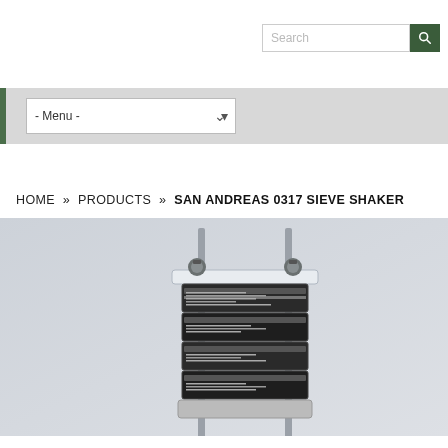Search
- Menu -
HOME » PRODUCTS » SAN ANDREAS 0317 SIEVE SHAKER
[Figure (photo): Photo of San Andreas 0317 Sieve Shaker — a stacked set of metal sieves on a shaker device with a flat top plate secured by thumbscrews and two metal rods, on a light gray background.]